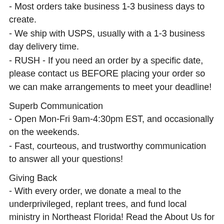- Most orders take business 1-3 business days to create.
- We ship with USPS, usually with a 1-3 business day delivery time.
- RUSH - If you need an order by a specific date, please contact us BEFORE placing your order so we can make arrangements to meet your deadline!
Superb Communication
- Open Mon-Fri 9am-4:30pm EST, and occasionally on the weekends.
- Fast, courteous, and trustworthy communication to answer all your questions!
Giving Back
- With every order, we donate a meal to the underprivileged, replant trees, and fund local ministry in Northeast Florida! Read the About Us for more on our mission!